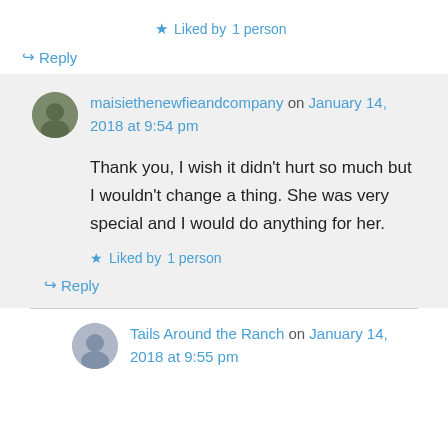★ Liked by 1 person
↪ Reply
maisiethenewfieandcompany on January 14, 2018 at 9:54 pm
Thank you, I wish it didn't hurt so much but I wouldn't change a thing. She was very special and I would do anything for her.
★ Liked by 1 person
↪ Reply
Tails Around the Ranch on January 14, 2018 at 9:55 pm